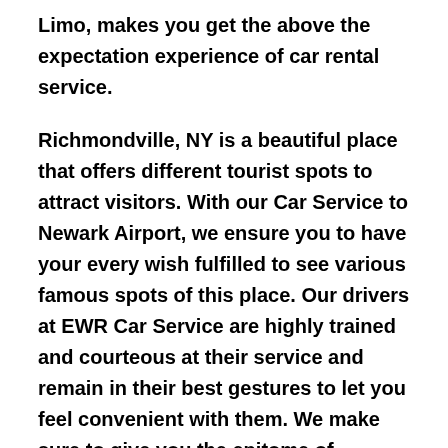Limo, makes you get the above the expectation experience of car rental service.
Richmondville, NY is a beautiful place that offers different tourist spots to attract visitors. With our Car Service to Newark Airport, we ensure you to have your every wish fulfilled to see various famous spots of this place. Our drivers at EWR Car Service are highly trained and courteous at their service and remain in their best gestures to let you feel convenient with them. We make sure to give you the epitome of delightful experience with our Car Service Newark Airport.
Whether your arrival to Richmondville, NY is due to some function that you are excited for the year...